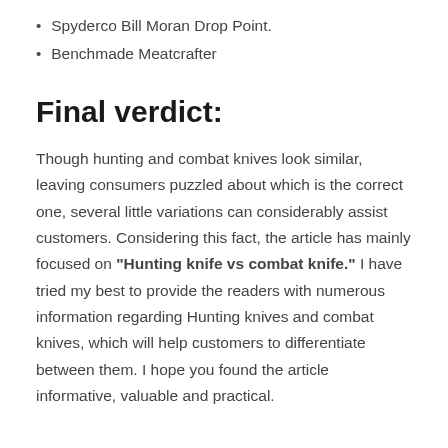Spyderco Bill Moran Drop Point.
Benchmade Meatcrafter
Final verdict:
Though hunting and combat knives look similar, leaving consumers puzzled about which is the correct one, several little variations can considerably assist customers. Considering this fact, the article has mainly focused on "Hunting knife vs combat knife." I have tried my best to provide the readers with numerous information regarding Hunting knives and combat knives, which will help customers to differentiate between them. I hope you found the article informative, valuable and practical.